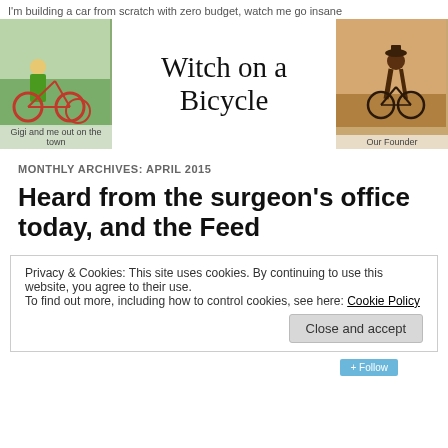I'm building a car from scratch with zero budget, watch me go insane
Witch on a Bicycle
Gigi and me out on the town
Our Founder
MONTHLY ARCHIVES: APRIL 2015
Heard from the surgeon's office today, and the Feed
Privacy & Cookies: This site uses cookies. By continuing to use this website, you agree to their use.
To find out more, including how to control cookies, see here: Cookie Policy
Close and accept